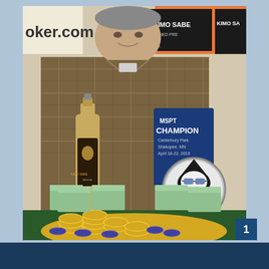[Figure (photo): A man in a plaid shirt sitting behind a poker table covered with yellow and blue poker chips, stacks of cash, a bottle of Kimo Sabe mezcal/tequila, and an MSPT Champion trophy/plaque with a skull wearing sunglasses. In the background are Kimo Sabe banners and a poker.com sign. A blue MSPT CHAMPION plaque reads 'Canterbury Park, Shakopee, MN, April 18-22, 2019'.]
1